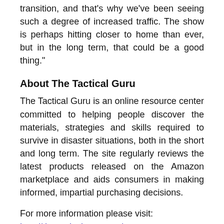transition, and that's why we've been seeing such a degree of increased traffic. The show is perhaps hitting closer to home than ever, but in the long term, that could be a good thing."
About The Tactical Guru
The Tactical Guru is an online resource center committed to helping people discover the materials, strategies and skills required to survive in disaster situations, both in the short and long term. The site regularly reviews the latest products released on the Amazon marketplace and aids consumers in making informed, impartial purchasing decisions.
For more information please visit: http://thetacticalguru.com/
Media Contact
Company Name: Brand Outreach